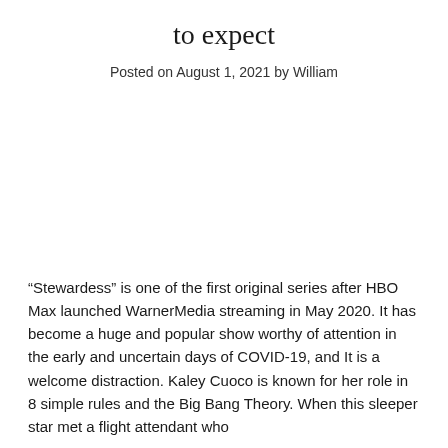to expect
Posted on August 1, 2021 by William
“Stewardess” is one of the first original series after HBO Max launched WarnerMedia streaming in May 2020. It has become a huge and popular show worthy of attention in the early and uncertain days of COVID-19, and It is a welcome distraction. Kaley Cuoco is known for her role in 8 simple rules and the Big Bang Theory. When this sleeper star met a flight attendant who